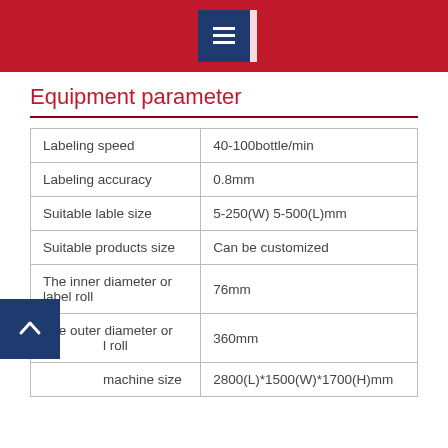[Figure (logo): Red header bar with blue document/list icon centered]
Equipment parameter
| Parameter | Value |
| --- | --- |
| Labeling speed | 40-100bottle/min |
| Labeling accuracy | 0.8mm |
| Suitable lable size | 5-250(W) 5-500(L)mm |
| Suitable products size | Can be customized |
| The inner diameter or label roll | 76mm |
| The outer diameter or label roll | 360mm |
| Machine size | 2800(L)*1500(W)*1700(H)mm |